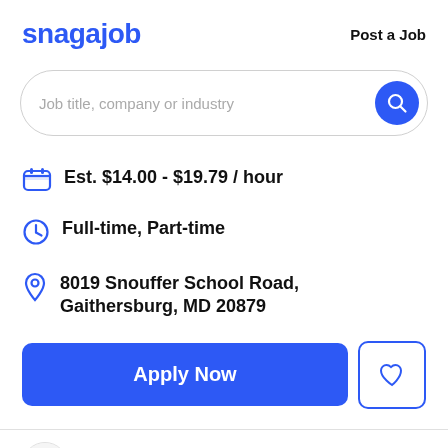snagajob   Post a Job
Job title, company or industry
Est. $14.00 - $19.79 / hour
Full-time, Part-time
8019 Snouffer School Road, Gaithersburg, MD 20879
Apply Now
[Figure (logo): Shipt company logo partially visible at bottom]